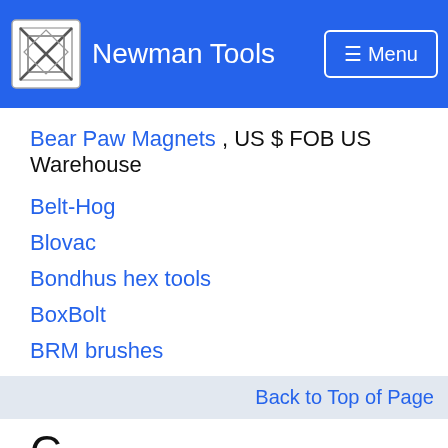Newman Tools   Menu
Bear Paw Magnets , US $ FOB US Warehouse
Belt-Hog
Blovac
Bondhus hex tools
BoxBolt
BRM brushes
Back to Top of Page
C
Champ drill grinders
Chapman
Check-line    US $ FOB US Warehouse